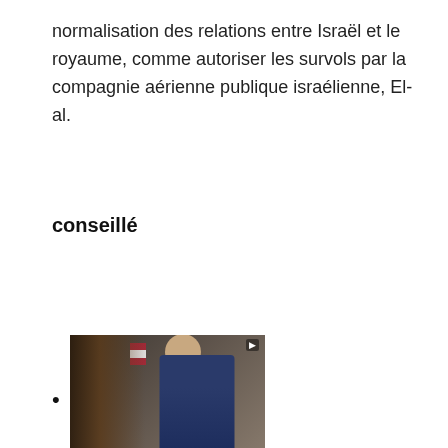normalisation des relations entre Israël et le royaume, comme autoriser les survols par la compagnie aérienne publique israélienne, El-al.
conseillé
• [thumbnail image]
[Figure (photo): Thumbnail image showing a person in a dark suit being interviewed, with an American flag visible in the background and a person with long hair in the foreground.]